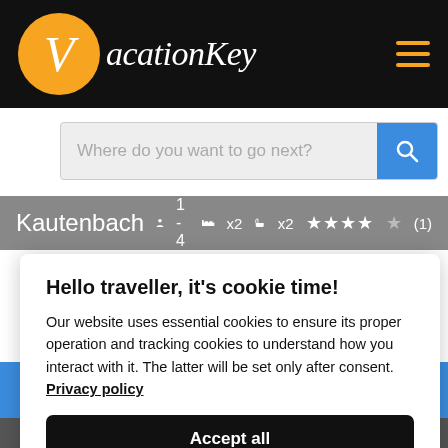VacationKey
Where do you want to go next?
Kautenbach  1-4  x2  x2  ★★★★☆(1)
Hello traveller, it's cookie time!
Our website uses essential cookies to ensure its proper operation and tracking cookies to understand how you interact with it. The latter will be set only after consent.
Privacy policy
Accept all
Preferences
per night, from € 115